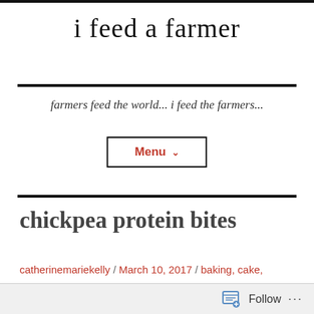i feed a farmer
farmers feed the world... i feed the farmers...
Menu
chickpea protein bites
catherinemariekelly / March 10, 2017 / baking, cake, cookies, monday musings, running, sports
Follow ...